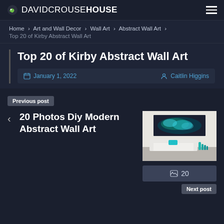DAVIDCROUSEHOUSE
Home › Art and Wall Decor › Wall Art › Abstract Wall Art › Top 20 of Kirby Abstract Wall Art
Top 20 of Kirby Abstract Wall Art
January 1, 2022   Caitlin Higgins
Previous post
20 Photos Diy Modern Abstract Wall Art
[Figure (photo): Room scene with teal abstract canvas art above a white modern sofa with teal decorative vases]
20
Next post